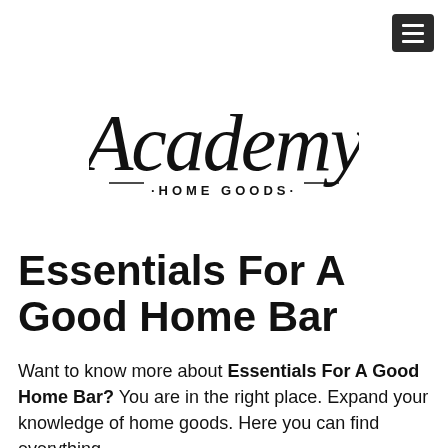[Figure (logo): Academy Home Goods logo in cursive/script font with 'HOME GOODS' in small caps below]
Essentials For A Good Home Bar
Want to know more about Essentials For A Good Home Bar? You are in the right place. Expand your knowledge of home goods. Here you can find everything